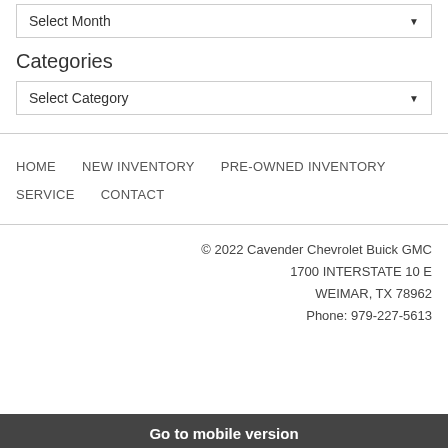Select Month
Categories
Select Category
HOME    NEW INVENTORY    PRE-OWNED INVENTORY    SERVICE    CONTACT
© 2022 Cavender Chevrolet Buick GMC
1700 INTERSTATE 10 E
WEIMAR, TX 78962
Phone: 979-227-5613
Go to mobile version